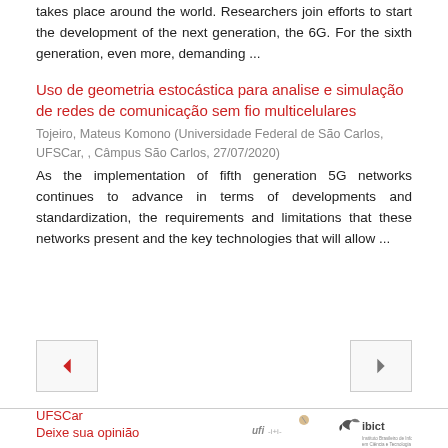takes place around the world. Researchers join efforts to start the development of the next generation, the 6G. For the sixth generation, even more, demanding ...
Uso de geometria estocástica para analise e simulação de redes de comunicação sem fio multicelulares
Tojeiro, Mateus Komono (Universidade Federal de São Carlos, UFSCar, , Câmpus São Carlos, 27/07/2020)
As the implementation of fifth generation 5G networks continues to advance in terms of developments and standardization, the requirements and limitations that these networks present and the key technologies that will allow ...
[Figure (other): Navigation buttons: left arrow (back) and right arrow (forward)]
UFSCar | Deixe sua opinião | UFI logo | IBICT logo